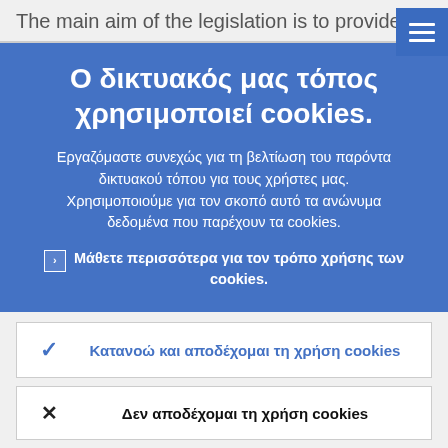The main aim of the legislation is to provide
Ο δικτυακός μας τόπος χρησιμοποιεί cookies.
Εργαζόμαστε συνεχώς για τη βελτίωση του παρόντα δικτυακού τόπου για τους χρήστες μας. Χρησιμοποιούμε για τον σκοπό αυτό τα ανώνυμα δεδομένα που παρέχουν τα cookies.
▸ Μάθετε περισσότερα για τον τρόπο χρήσης των cookies.
✓ Κατανοώ και αποδέχομαι τη χρήση cookies
✗ Δεν αποδέχομαι τη χρήση cookies